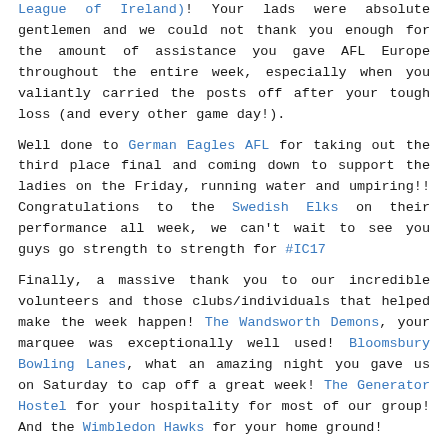League of Ireland)! Your lads were absolute gentlemen and we could not thank you enough for the amount of assistance you gave AFL Europe throughout the entire week, especially when you valiantly carried the posts off after your tough loss (and every other game day!).
Well done to German Eagles AFL for taking out the third place final and coming down to support the ladies on the Friday, running water and umpiring!! Congratulations to the Swedish Elks on their performance all week, we can't wait to see you guys go strength to strength for #IC17
Finally, a massive thank you to our incredible volunteers and those clubs/individuals that helped make the week happen! The Wandsworth Demons, your marquee was exceptionally well used! Bloomsbury Bowling Lanes, what an amazing night you gave us on Saturday to cap off a great week! The Generator Hostel for your hospitality for most of our group! And the Wimbledon Hawks for your home ground!